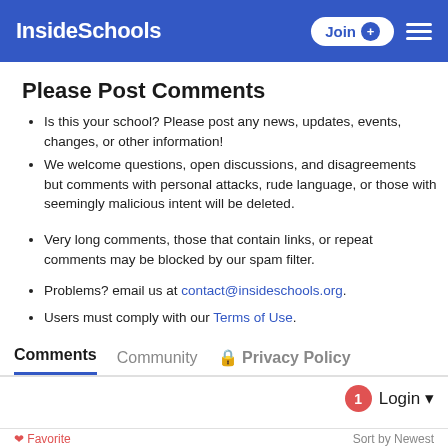InsideSchools
Please Post Comments
Is this your school? Please post any news, updates, events, changes, or other information!
We welcome questions, open discussions, and disagreements but comments with personal attacks, rude language, or those with seemingly malicious intent will be deleted.
Very long comments, those that contain links, or repeat comments may be blocked by our spam filter.
Problems? email us at contact@insideschools.org.
Users must comply with our Terms of Use.
Comments | Community | Privacy Policy
1  Login